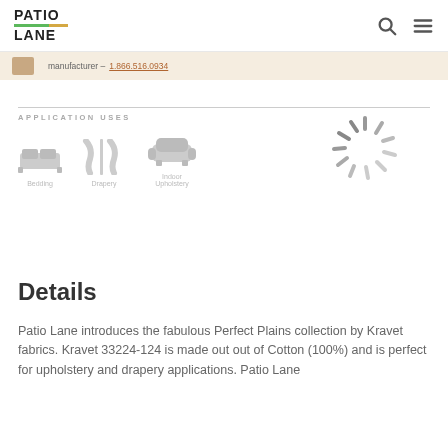PATIO LANE
manufacturer – 1.866.516.0934
[Figure (infographic): Application uses section with icons for Bedding, Drapery, and Indoor Upholstery, plus a loading spinner graphic]
Details
Patio Lane introduces the fabulous Perfect Plains collection by Kravet fabrics. Kravet 33224-124 is made out out of Cotton (100%) and is perfect for upholstery and drapery applications. Patio Lane